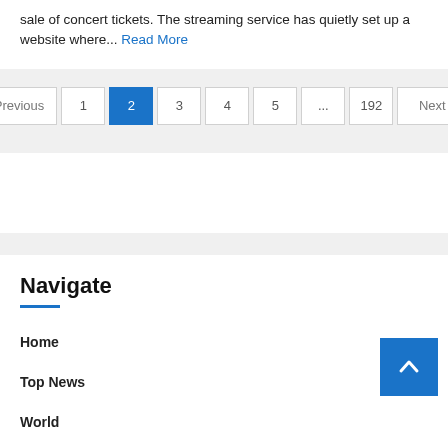sale of concert tickets. The streaming service has quietly set up a website where... Read More
Previous
1
2
3
4
5
...
192
Next
Navigate
Home
Top News
World
Economy